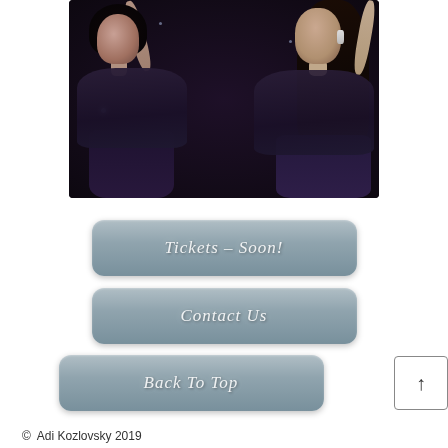[Figure (photo): Two women in black dresses posing against a dark background with subtle star bokeh lighting. Left woman looks upward with dark short hair, right woman looks upward with long dark hair and earrings.]
Tickets – Soon!
Contact Us
Back To Top
© Adi Kozlovsky 2019